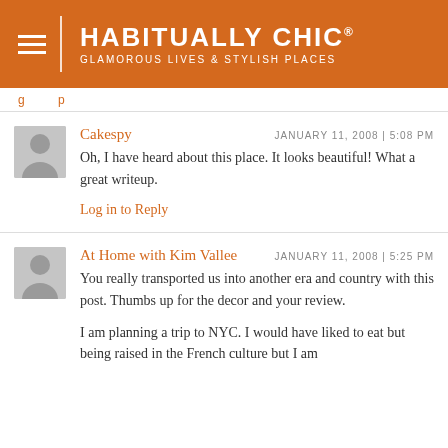HABITUALLY CHIC® GLAMOROUS LIVES & STYLISH PLACES
Cakespy JANUARY 11, 2008 | 5:08 PM Oh, I have heard about this place. It looks beautiful! What a great writeup. Log in to Reply
At Home with Kim Vallee JANUARY 11, 2008 | 5:25 PM You really transported us into another era and country with this post. Thumbs up for the decor and your review. I am planning a trip to NYC. I would have liked to eat but being raised in the French culture but I am